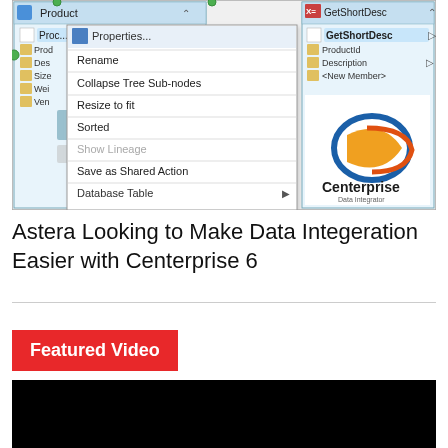[Figure (screenshot): Screenshot of Centerprise Data Integrator showing a context menu with options: Properties..., Rename, Collapse Tree Sub-nodes, Resize to fit, Sorted, Show Lineage (grayed), Save as Shared Action, Database Table. Left panel shows a Product table. Right panel shows GetShortDesc function. Centerprise logo visible.]
Astera Looking to Make Data Integeration Easier with Centerprise 6
Featured Video
[Figure (screenshot): Black video player area]